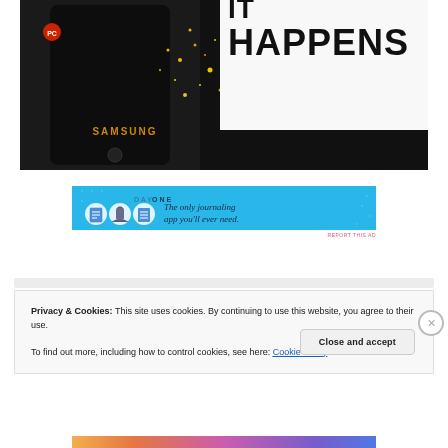[Figure (photo): Close-up photo of a dark Samsung device next to a sign/sticker reading 'HAPPENS' in large bold black text on white background, with sparks or glitter visible in background]
[Figure (screenshot): Day One app advertisement banner on light blue background. Shows 'DAY ONE' logo text with three circular icons (journal, person, notepad) and text 'The only journaling app you'll ever need.']
REPORT THIS AD
Privacy & Cookies: This site uses cookies. By continuing to use this website, you agree to their use.
To find out more, including how to control cookies, see here: Cookie Policy
Close and accept